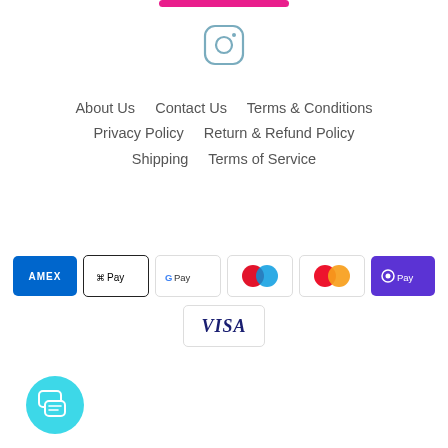[Figure (logo): Partial pink rounded button/bar at top]
[Figure (logo): Instagram icon - rounded square camera outline in steel blue/grey]
About Us    Contact Us    Terms & Conditions
Privacy Policy    Return & Refund Policy
Shipping    Terms of Service
[Figure (logo): Payment method icons: American Express (blue), Apple Pay (white/black border), Google Pay (white), Mastercard Maestro (red/blue circles), Mastercard (red/orange circles), Samsung Pay (purple), Visa (white/blue)]
[Figure (illustration): Cyan/teal chat bubble button with speech bubbles icon in bottom left]